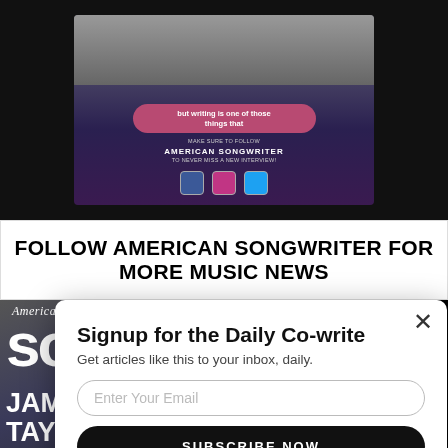[Figure (screenshot): Video thumbnail showing two people with a pink quote bubble reading 'but writing is one of those things that', below text 'MAKE SURE TO FOLLOW AMERICAN SONGWRITER TO NEVER MISS A NEW INTERVIEW!' with social media icons]
FOLLOW AMERICAN SONGWRITER FOR MORE MUSIC NEWS
[Figure (photo): American Songwriter magazine cover featuring James Taylor wearing a cap and suit, with sidebar text for RU WAINW, TAM IMPAL, JUSTI TRANTER, NATHA RATEL]
Signup for the Daily Co-write
Get articles like this to your inbox, daily.
Enter Your Email
SUBSCRIBE NOW
NO THANKS